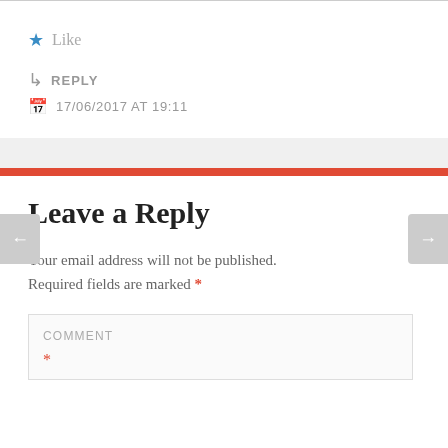★ Like
↳ REPLY
17/06/2017 AT 19:11
Leave a Reply
Your email address will not be published. Required fields are marked *
COMMENT *